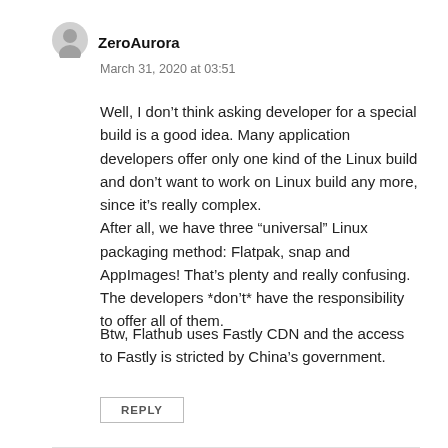[Figure (illustration): User avatar icon — generic grey silhouette of a person in a circle]
ZeroAurora
March 31, 2020 at 03:51
Well, I don’t think asking developer for a special build is a good idea. Many application developers offer only one kind of the Linux build and don’t want to work on Linux build any more, since it’s really complex.
After all, we have three “universal” Linux packaging method: Flatpak, snap and AppImages! That’s plenty and really confusing. The developers *don’t* have the responsibility to offer all of them.
Btw, Flathub uses Fastly CDN and the access to Fastly is stricted by China’s government.
REPLY